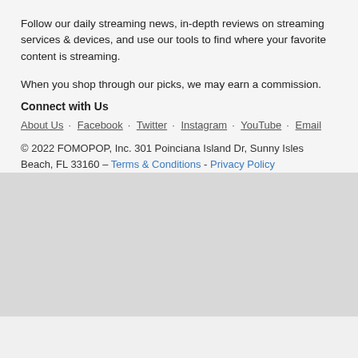Follow our daily streaming news, in-depth reviews on streaming services & devices, and use our tools to find where your favorite content is streaming.
When you shop through our picks, we may earn a commission.
Connect with Us
About Us · Facebook · Twitter · Instagram · YouTube · Email
© 2022 FOMOPOP, Inc. 301 Poinciana Island Dr, Sunny Isles Beach, FL 33160 – Terms & Conditions - Privacy Policy